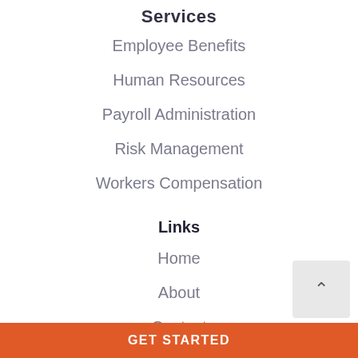Services
Employee Benefits
Human Resources
Payroll Administration
Risk Management
Workers Compensation
Links
Home
About
Contact
GET STARTED